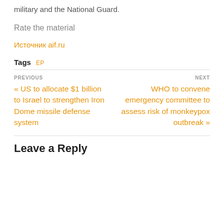military and the National Guard.
Rate the material
Источник aif.ru
Tags  EP
PREVIOUS
« US to allocate $1 billion to Israel to strengthen Iron Dome missile defense system
NEXT
WHO to convene emergency committee to assess risk of monkeypox outbreak »
Leave a Reply